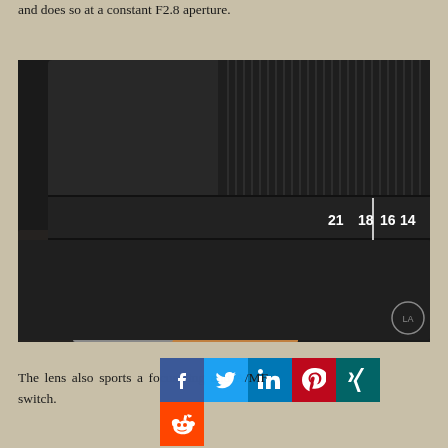does so at a constant F2.8 aperture.
[Figure (photo): Close-up photograph of a camera lens showing focal length markings: 21, 18, 16, 14, 12 on a black lens barrel with ribbed zoom ring, red accent elements and camera body visible in background.]
[Figure (infographic): Social media sharing buttons: Facebook (blue), Twitter (cyan/teal), LinkedIn (blue), Pinterest (red), Xing (teal/dark), Reddit (red) icons arranged in two rows.]
The lens also sports a fo... A/MF switch.